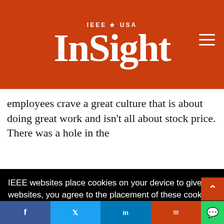IEEE USA InSight
employees crave a great culture that is about doing great work and isn't all about stock price. There was a hole in the [company] [... and in] [off...]
IEEE websites place cookies on your device to give you the best user experience. By using our websites, you agree to the placement of these cookies. To learn more, read our Privacy Policy.
Accept & Close